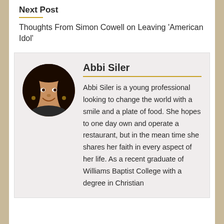Next Post
Thoughts From Simon Cowell on Leaving 'American Idol'
[Figure (photo): Circular portrait photo of Abbi Siler, a young woman smiling]
Abbi Siler
Abbi Siler is a young professional looking to change the world with a smile and a plate of food. She hopes to one day own and operate a restaurant, but in the mean time she shares her faith in every aspect of her life. As a recent graduate of Williams Baptist College with a degree in Christian